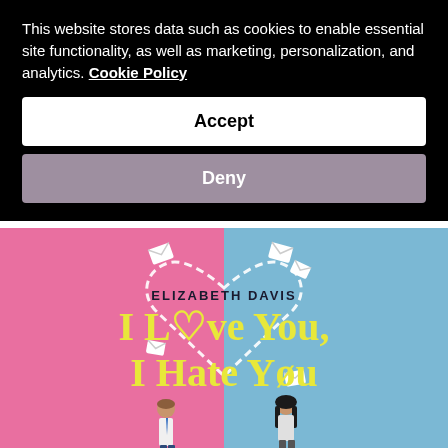This website stores data such as cookies to enable essential site functionality, as well as marketing, personalization, and analytics. Cookie Policy
Accept
Deny
[Figure (illustration): Book cover of 'I Love You, I Hate You' by Elizabeth Davis. Split background: left half pink, right half blue. A dashed-line heart outline in the center with small envelope illustrations flying around it. Title text in large yellow font, author name in dark bold font. Bottom shows illustrated figures of a man and woman.]